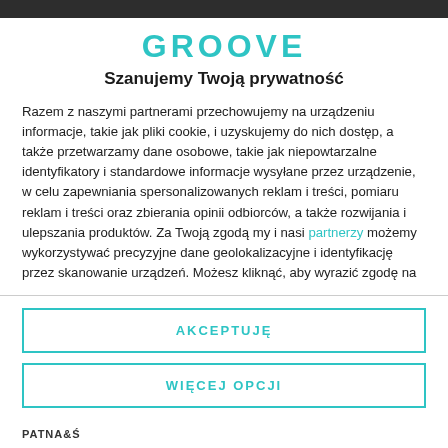GROOVE
Szanujemy Twoją prywatność
Razem z naszymi partnerami przechowujemy na urządzeniu informacje, takie jak pliki cookie, i uzyskujemy do nich dostęp, a także przetwarzamy dane osobowe, takie jak niepowtarzalne identyfikatory i standardowe informacje wysyłane przez urządzenie, w celu zapewniania spersonalizowanych reklam i treści, pomiaru reklam i treści oraz zbierania opinii odbiorców, a także rozwijania i ulepszania produktów. Za Twoją zgodą my i nasi partnerzy możemy wykorzystywać precyzyjne dane geolokalizacyjne i identyfikację przez skanowanie urządzeń. Możesz kliknąć, aby wyrazić zgodę na
AKCEPTUJĘ
WIĘCEJ OPCJI